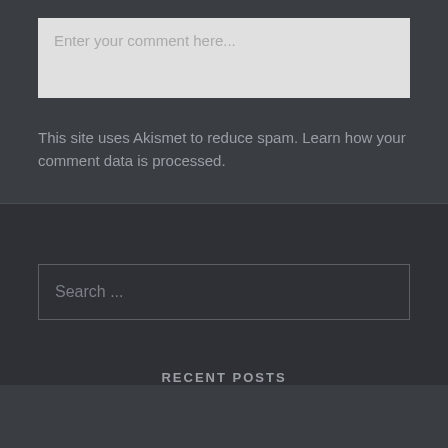Enter your comment here...
This site uses Akismet to reduce spam. Learn how your comment data is processed.
Search ...
RECENT POSTS